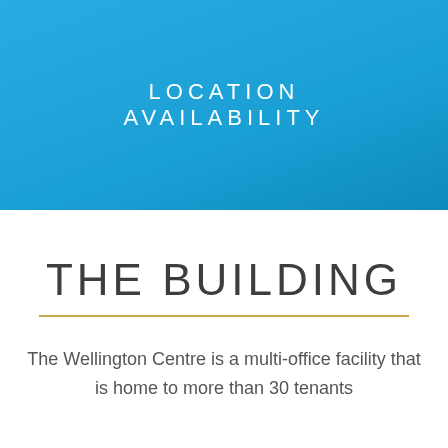LOCATION
AVAILABILITY
THE BUILDING
The Wellington Centre is a multi-office facility that is home to more than 30 tenants